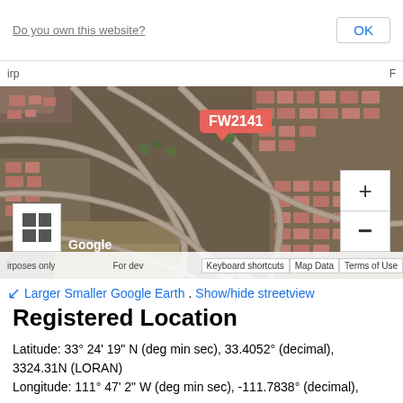[Figure (map): Google Maps satellite view showing a suburban residential area with curved streets and a red pin marker labeled FW2141. UI elements include zoom controls, layer toggle button, Google logo, and bottom bar with Keyboard shortcuts, Map Data, and Terms of Use.]
Larger  Smaller  Google Earth.  Show/hide streetview
Registered Location
Latitude: 33° 24' 19" N (deg min sec), 33.4052° (decimal), 3324.31N (LORAN)
Longitude: 111° 47' 2" W (deg min sec), -111.7838° (decimal), 11147.63W (LORAN)